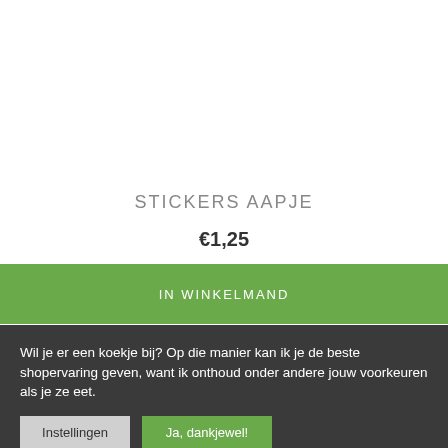[Figure (illustration): Circular product image showing an illustrated monkey/child character with brown hair on a white background, cropped at top]
STICKERS AAPJE
€1,25
IN WINKELMAND
Wil je er een koekje bij? Op die manier kan ik je de beste shopervaring geven, want ik onthoud onder andere jouw voorkeuren als je ze eet.
Instellingen
Ja, dankjewel!